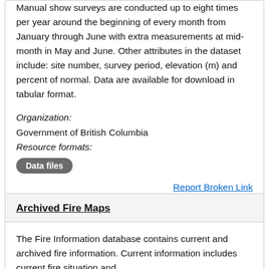Manual snow surveys are conducted up to eight times per year around the beginning of every month from January through June with extra measurements at mid-month in May and June. Other attributes in the dataset include: site number, survey period, elevation (m) and percent of normal. Data are available for download in tabular format.
Organization: Government of British Columbia
Resource formats: Data files
Report Broken Link
Archived Fire Maps
The Fire Information database contains current and archived fire information. Current information includes current fire situation and